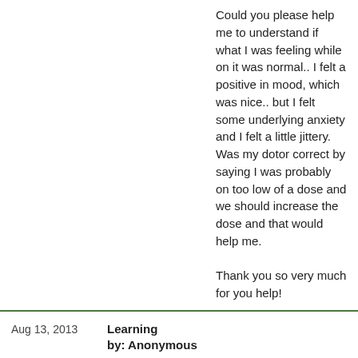Could you please help me to understand if what I was feeling while on it was normal.. I felt a positive in mood, which was nice.. but I felt some underlying anxiety and I felt a little jittery.
Was my dotor correct by saying I was probably on too low of a dose and we should increase the dose and that would help me.

Thank you so very much for you help!
Aug 13, 2013
Learning
by: Anonymous
Just wanted to add something I've learned in the past few days. If you already have insulin resistance - which is often accompanied by hypoglycemia - and you add progesterone cream (even in small amounts), you may make insulin resistance worse and increase hypoglycemia. This of course depends on your body. I knew that I felt worse in some respects on the cream and was having overly dramatic hypoglycemic episodes after coming off. Apparently it's just making insulin resistance worse in my body, which is making the hypoglycemic episodes worse - which